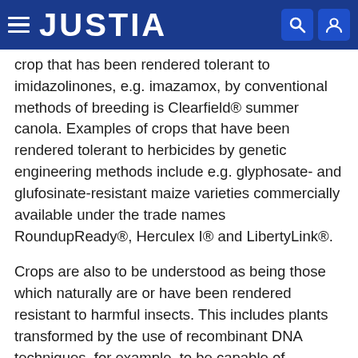JUSTIA
crop that has been rendered tolerant to imidazolinones, e.g. imazamox, by conventional methods of breeding is Clearfield® summer canola. Examples of crops that have been rendered tolerant to herbicides by genetic engineering methods include e.g. glyphosate- and glufosinate-resistant maize varieties commercially available under the trade names RoundupReady®, Herculex I® and LibertyLink®.
Crops are also to be understood as being those which naturally are or have been rendered resistant to harmful insects. This includes plants transformed by the use of recombinant DNA techniques, for example, to be capable of synthesising one or more selectively acting toxins, such as are known, for example, from toxin-producing bacteria. Examples of toxins which can be expressed include δ-endotoxins, vegetative insecticidal